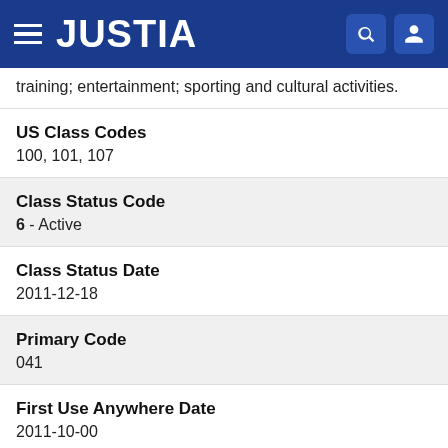JUSTIA
training; entertainment; sporting and cultural activities.
US Class Codes
100, 101, 107
Class Status Code
6 - Active
Class Status Date
2011-12-18
Primary Code
041
First Use Anywhere Date
2011-10-00
First Use In Commerce Date